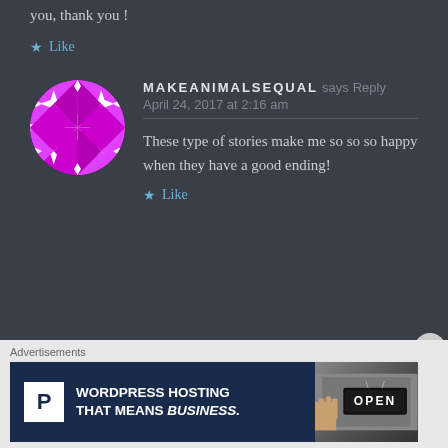you, thank you !
★ Like
[Figure (illustration): Circular avatar with magenta/pink and white geometric star/diamond pattern on dark background]
MAKEANIMALSEQUAL says Reply
April 24, 2017 at 2:16 am
These type of stories make me so so so happy when they have a good ending!
★ Like
Advertisements
[Figure (screenshot): WordPress Hosting advertisement banner: dark navy left side with P logo icon and text 'WORDPRESS HOSTING THAT MEANS BUSINESS.' and right side shows a photo of an OPEN sign]